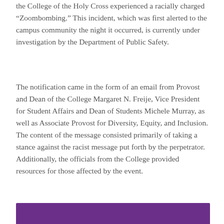the College of the Holy Cross experienced a racially charged “Zoombombing.” This incident, which was first alerted to the campus community the night it occurred, is currently under investigation by the Department of Public Safety.
The notification came in the form of an email from Provost and Dean of the College Margaret N. Freije, Vice President for Student Affairs and Dean of Students Michele Murray, as well as Associate Provost for Diversity, Equity, and Inclusion. The content of the message consisted primarily of taking a stance against the racist message put forth by the perpetrator. Additionally, the officials from the College provided resources for those affected by the event.
[Figure (other): Purple bar at the bottom of the page, partial view of a colored section or image background]